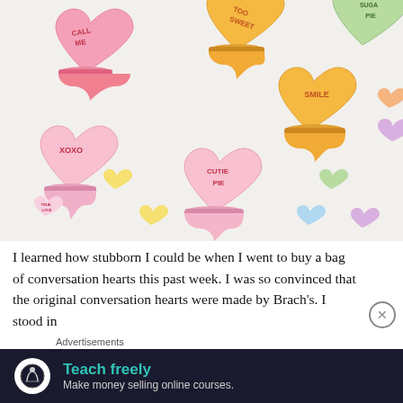[Figure (photo): Overhead photo of heart-shaped macarons decorated like conversation hearts with text such as CALL ME, XOXO, TOO SWEET, SMILE, CUTIE PIE, SUGAR PIE, TRUE LOVE, on a white background, with small candy conversation hearts scattered around.]
I learned how stubborn I could be when I went to buy a bag of conversation hearts this past week. I was so convinced that the original conversation hearts were made by Brach's. I stood in
Advertisements
Teach freely
Make money selling online courses.